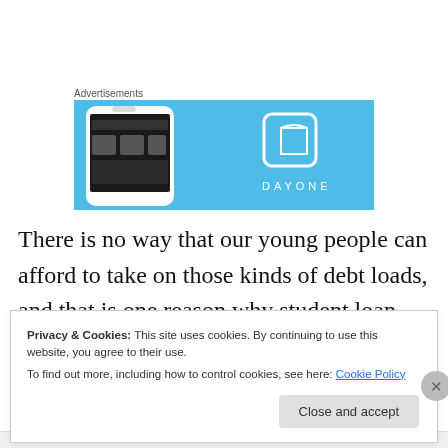Advertisements
[Figure (illustration): DayOne app advertisement banner with light blue background, showing a smartphone with the DayOne app interface on the left and the DayOne logo (book icon and DAYONE text) on the right.]
There is no way that our young people can afford to take on those kinds of debt loads, and that is one reason why student loan delinquency rates continue to surge.
Privacy & Cookies: This site uses cookies. By continuing to use this website, you agree to their use.
To find out more, including how to control cookies, see here: Cookie Policy
Close and accept